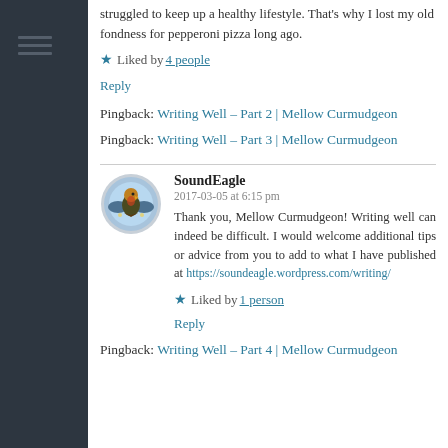…struggled to keep up a healthy lifestyle. That's why I lost my old fondness for pepperoni pizza long ago.
★ Liked by 4 people
Reply
Pingback: Writing Well – Part 2 | Mellow Curmudgeon
Pingback: Writing Well – Part 3 | Mellow Curmudgeon
SoundEagle
2017-03-05 at 6:15 pm
Thank you, Mellow Curmudgeon! Writing well can indeed be difficult. I would welcome additional tips or advice from you to add to what I have published at https://soundeagle.wordpress.com/writing/
★ Liked by 1 person
Reply
Pingback: Writing Well – Part 4 | Mellow Curmudgeon